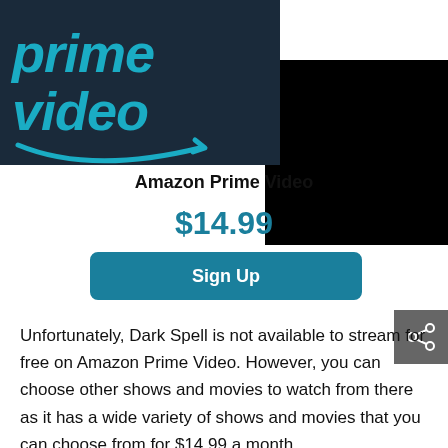[Figure (logo): Amazon Prime Video logo on dark navy background with cyan text and smile arrow, partially overlapped by a black rectangle]
Amazon Prime Video
$14.99
Sign Up
Unfortunately, Dark Spell is not available to stream for free on Amazon Prime Video. However, you can choose other shows and movies to watch from there as it has a wide variety of shows and movies that you can choose from for $14.99 a month.